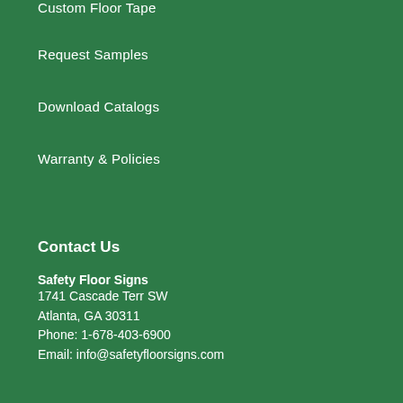Custom Floor Tape
Request Samples
Download Catalogs
Warranty & Policies
Contact Us
Safety Floor Signs
1741 Cascade Terr SW
Atlanta, GA 30311
Phone: 1-678-403-6900
Email: info@safetyfloorsigns.com